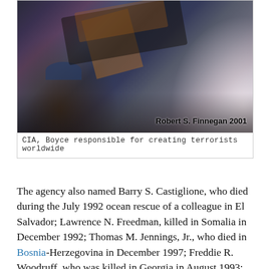[Figure (photo): Photograph of a crowd scene with people, one person wearing a blue cap visible in the foreground, with banners/flags. Credit: Robert S. Finnegan 2001]
CIA, Boyce responsible for creating terrorists worldwide
The agency also named Barry S. Castiglione, who died during the July 1992 ocean rescue of a colleague in El Salvador; Lawrence N. Freedman, killed in Somalia in December 1992; Thomas M. Jennings, Jr., who died in Bosnia-Herzegovina in December 1997; Freddie R. Woodruff, who was killed in Georgia in August 1993; and Robert W. Woods, who died in a plane crash in August 1989 with Rep. Mickey Leland on a humanitarian mission in Ethiopia.
Those five deaths, Petraeus said, are a reminder of "the sheer sweep of our global mission" and "the risks inherent to intelligence work, as well as the bravery and integrity of